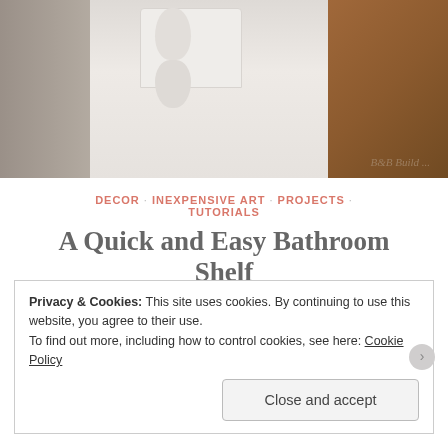[Figure (photo): Photo of a bathroom showing a toilet with toilet paper rolls on top, a wooden cabinet on the right, and a watermark reading 'B&B Build...' in the lower right corner.]
DECOR · INEXPENSIVE ART · PROJECTS · TUTORIALS
A Quick and Easy Bathroom Shelf
June 19, 2013 · Beth & Bill · 2 Comments
So it's obvious by our new summer pillows that we made
Privacy & Cookies: This site uses cookies. By continuing to use this website, you agree to their use.
To find out more, including how to control cookies, see here: Cookie Policy
Close and accept